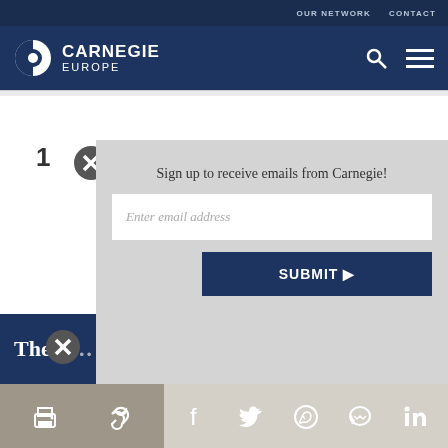OUR NETWORK   CONTACT
[Figure (logo): Carnegie Europe logo with circular icon and white text on dark blue background]
1
Sign up to receive emails from Carnegie!
Enter email address
SUBMIT ▶
The A
Print, link, Facebook, Twitter, WhatsApp, Messenger, LinkedIn icons